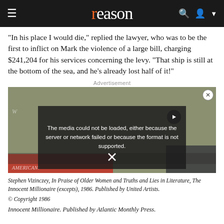reason
"In his place I would die," replied the lawyer, who was to be the first to inflict on Mark the violence of a large bill, charging $241,204 for his services concerning the levy. "That ship is still at the bottom of the sea, and he's already lost half of it!"
Advertisement
[Figure (screenshot): Advertisement area with a video player overlay showing error message: 'The media could not be loaded, either because the server or network failed or because the format is not supported.' with an X close button and play button icon. Background shows a protest scene.]
Stephen Vizinczey, In Praise of Older Women and Truths and Lies in Literature, The Innocent Millionaire (excerpts), 1986. Published by United Artists.
© Copyright 1986
Innocent Millionaire. Published by Atlantic Monthly Press.